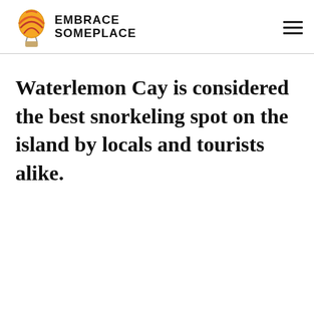EMBRACE SOMEPLACE
Waterlemon Cay is considered the best snorkeling spot on the island by locals and tourists alike.